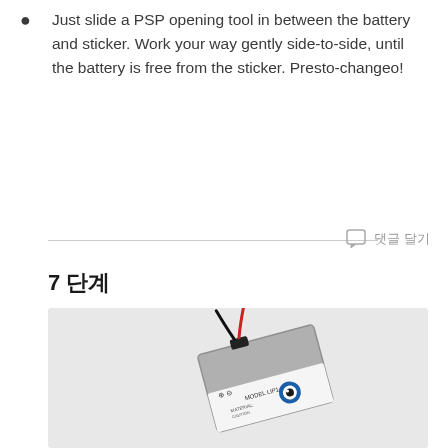Just slide a PSP opening tool in between the battery and sticker. Work your way gently side-to-side, until the battery is free from the sticker. Presto-changeo!
댓글 달기
7 단계
[Figure (photo): A PSP battery (MODEL LIP1412) photographed at an angle on a light gray background, showing the connector wires (red and black) at the top.]